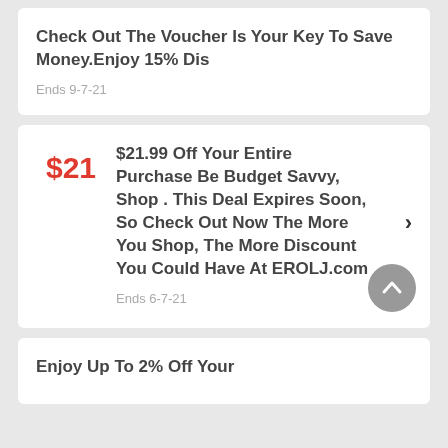Check Out The Voucher Is Your Key To Save Money.Enjoy 15% Dis
Ends 9-7-21
$21.99 Off Your Entire Purchase Be Budget Savvy, Shop . This Deal Expires Soon, So Check Out Now The More You Shop, The More Discount You Could Have At EROLJ.com
Ends 6-7-21
Enjoy Up To 2% Off Your